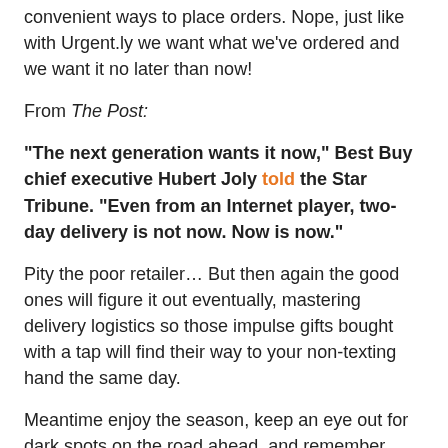convenient ways to place orders. Nope, just like with Urgent.ly we want what we've ordered and we want it no later than now!
From The Post:
“The next generation wants it now,” Best Buy chief executive Hubert Joly told the Star Tribune. “Even from an Internet player, two-day delivery is not now. Now is now.”
Pity the poor retailer… But then again the good ones will figure it out eventually, mastering delivery logistics so those impulse gifts bought with a tap will find their way to your non-texting hand the same day.
Meantime enjoy the season, keep an eye out for dark spots on the road ahead, and remember who’s quickest and most transparent if you do find the air shrieking from one of your tires: You know, us… the #1 App ;-)